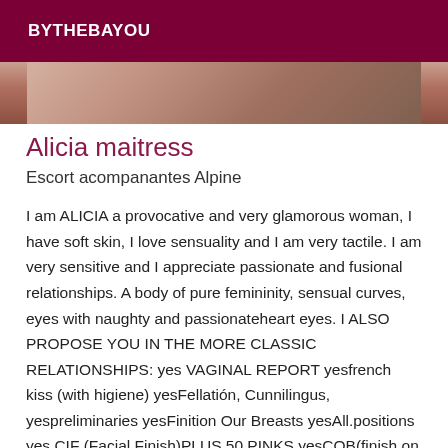BYTHEBAYOU
[Figure (photo): Partial photo strip showing skin/body texture in muted warm tones]
Alicia maitress
Escort acompanantes Alpine
I am ALICIA a provocative and very glamorous woman, I have soft skin, I love sensuality and I am very tactile. I am very sensitive and I appreciate passionate and fusional relationships. A body of pure femininity, sensual curves, eyes with naughty and passionateheart eyes. I ALSO PROPOSE YOU IN THE MORE CLASSIC RELATIONSHIPS: yes VAGINAL REPORT yesfrench kiss (with higiene) yesFellatión, Cunnilingus, yespreliminaries yesFinition Our Breasts yesAll.positions yes CIF (Facial Finish)PLUS 50 PINKS yesCOB(finish on the body and breasts), yes Full Body Sensual Massage (oil and cream) yes BODY BODY FULL SENSUAL MASSAGE yes EROTIC MASSAGE... yes SPANISH HANDJOB yesNaturist tantric massage, with